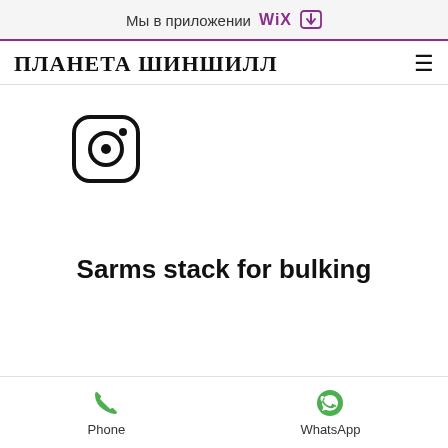Мы в приложении WiX
ПЛАНЕТА ШИНШИЛЛ
[Figure (logo): Instagram icon — rounded square with camera outline]
Sarms stack for bulking
Phone | WhatsApp